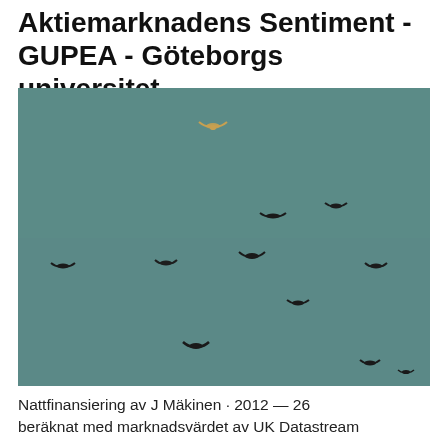Aktiemarknadens Sentiment - GUPEA - Göteborgs universitet
[Figure (photo): A flock of birds (starlings or similar dark birds) flying against a teal/grey-green sky. One lighter-colored bird is visible near the top center. The birds are scattered in a loose formation across the frame.]
Nattfinansiering  av J Mäkinen · 2012 — 26 beräknat med marknadsvärdet av UK Datastream